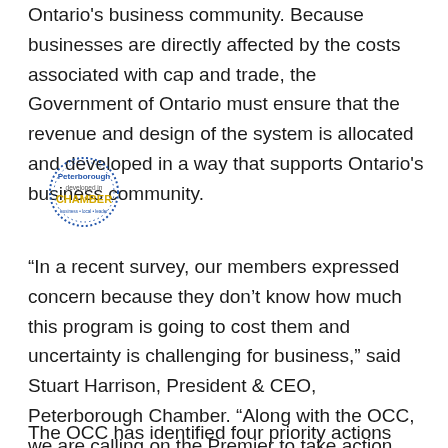Ontario's business community. Because businesses are directly affected by the costs associated with cap and trade, the Government of Ontario must ensure that the revenue and design of the system is allocated and developed in a way that supports Ontario's business community.
[Figure (logo): Peterborough Chamber of Commerce logo — circular dotted border in blue, text 'Peterborough' in blue, 'developed in' in grey, 'CHAMBER' in yellow/gold, tagline below in small blue text]
“In a recent survey, our members expressed concern because they don’t know how much this program is going to cost them and uncertainty is challenging for business,” said Stuart Harrison, President & CEO, Peterborough Chamber. “Along with the OCC, we are calling on the Premier to take action and support our businesses and local economy.”
The OCC has identified four priority actions that would assist the business community to better navigate the cap